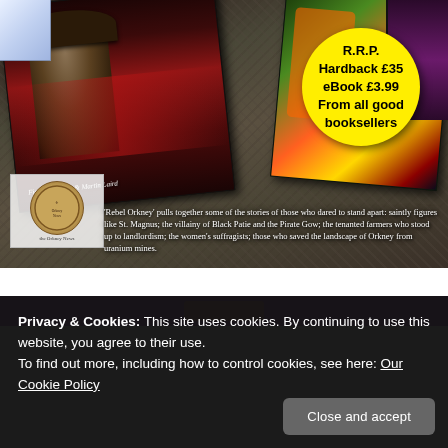[Figure (photo): Photo of comic/graphic novel books laid on stone ground showing cover art with a cowboy-like figure. A yellow circular badge reads 'R.R.P. Hardback £35 eBook £3.99 From all good booksellers'. Author names 'Fione Grahame & Martin Laird' are visible on cover. Bottom of image shows Orkney News publisher logo and description text: 'Rebel Orkney pulls together some of the stories of those who dared to stand apart: saintly figures like St. Magnus; the villainy of Black Patie and the Pirate Gow; the tenanted farmers who stood up to landlordism; the women's suffragists; those who saved the landscape of Orkney from uranium mines.']
Privacy & Cookies: This site uses cookies. By continuing to use this website, you agree to their use.
To find out more, including how to control cookies, see here: Our Cookie Policy